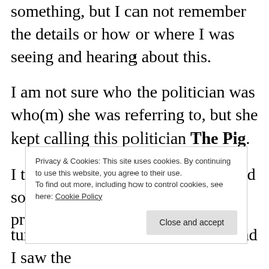something, but I can not remember the details or how or where I was seeing and hearing about this.
I am not sure who the politician was who(m) she was referring to, but she kept calling this politician The Pig.
I think that the female journalist and some other people were going to protest.
Privacy & Cookies: This site uses cookies. By continuing to use this website, you agree to their use.
To find out more, including how to control cookies, see here: Cookie Policy
turned the television to the news and I saw the